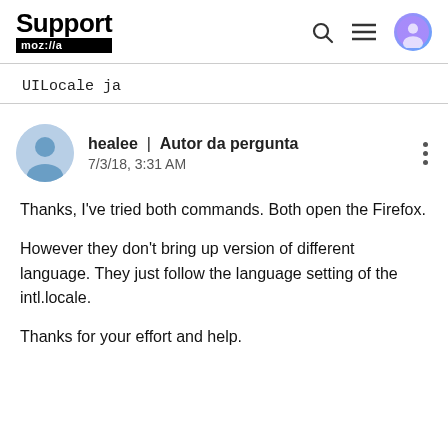Support moz://a
UILocale ja
healee | Autor da pergunta
7/3/18, 3:31 AM
Thanks, I've tried both commands. Both open the Firefox.

However they don't bring up version of different language. They just follow the language setting of the intl.locale.

Thanks for your effort and help.